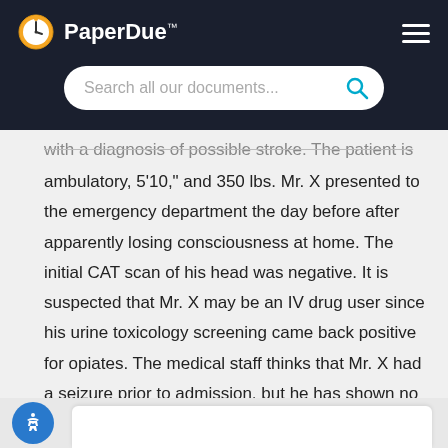PaperDue™ — Search all our documents...
with a diagnosis of possible stroke. The patient is ambulatory, 5'10," and 350 lbs. Mr. X presented to the emergency department the day before after apparently losing consciousness at home. The initial CAT scan of his head was negative. It is suspected that Mr. X may be an IV drug user since his urine toxicology screening came back positive for opiates. The medical staff thinks that Mr. X had a seizure prior to admission, but he has shown no abnormal signs...